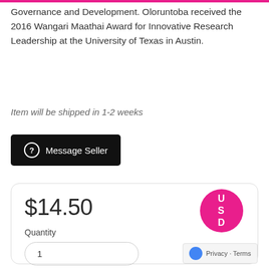Governance and Development. Oloruntoba received the 2016 Wangari Maathai Award for Innovative Research Leadership at the University of Texas in Austin.
Item will be shipped in 1-2 weeks
Message Seller
$14.50
Quantity
1
USD
Privacy · Terms